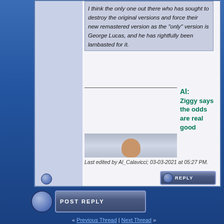I think the only one out there who has sought to destroy the original versions and force their new remastered version as the "only" version is George Lucas, and he has rightfully been lambasted for it.
Al: Ziggy says the odds are real good
[Figure (photo): Partial avatar photo of a person's head]
Last edited by Al_Calavicci; 03-03-2021 at 05:27 PM.
[Figure (other): Reply button with blue orb]
[Figure (other): POST REPLY button with blue orb]
« Previous Thread | Next Thread »